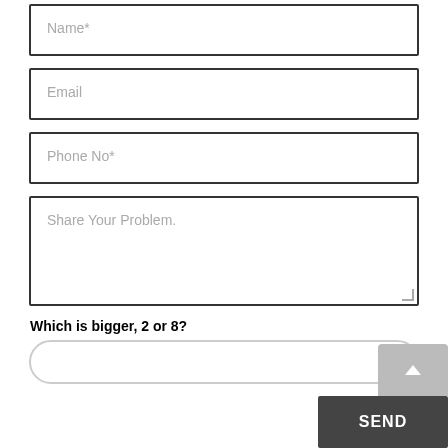Name*
Email
Phone No*
Share Your Problem.
Which is bigger, 2 or 8?
SEND